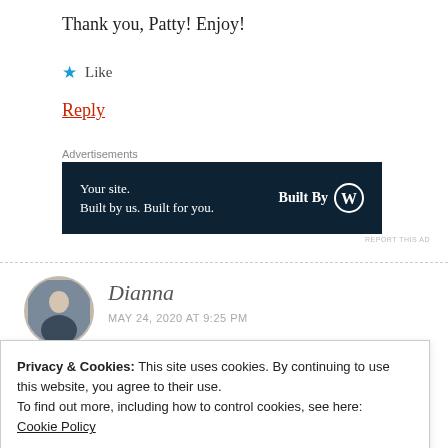Thank you, Patty! Enjoy!
★ Like
Reply
Advertisements
[Figure (infographic): Dark navy advertisement banner: 'Your site. Built by us. Built for you.' with 'Built By W' WordPress logo on right]
REPORT THIS AD
Dianna
MAY 24, 2020 AT 9:25 PM
Privacy & Cookies: This site uses cookies. By continuing to use this website, you agree to their use.
To find out more, including how to control cookies, see here:
Cookie Policy
Close and accept